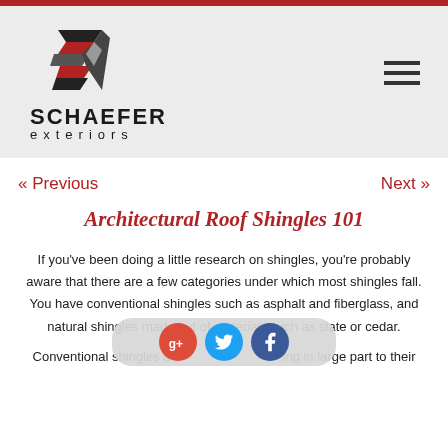Schaefer Exteriors logo and navigation header
Architectural Roof Shingles 101
If you've been doing a little research on shingles, you're probably aware that there are a few categories under which most shingles fall. You have conventional shingles such as asphalt and fiberglass, and natural shingles made out of materials such as slate or cedar.
Conventional shingles a... ing in large part to their